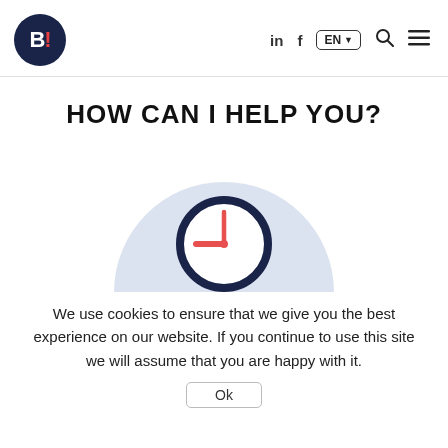B! logo, in, f, EN, search, menu
HOW CAN I HELP YOU?
[Figure (illustration): A clock icon centered on a light blue semicircle background. The clock face is outlined in dark navy blue with a coral/red clock hand showing approximately 9:45 or similar time.]
We use cookies to ensure that we give you the best experience on our website. If you continue to use this site we will assume that you are happy with it.
Ok